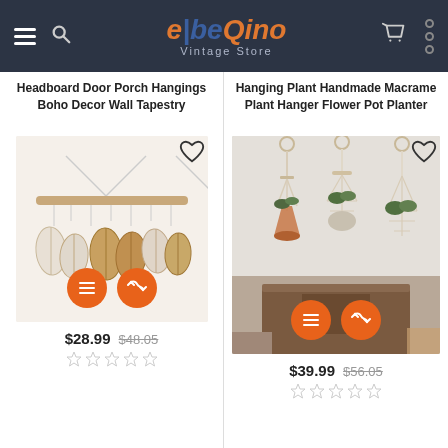beQino Vintage Store
Headboard Door Porch Hangings Boho Decor Wall Tapestry
[Figure (photo): Macrame wall hanging with leaf shapes on a wooden rod, white and tan colors]
$28.99  $48.05
Hanging Plant Handmade Macrame Plant Hanger Flower Pot Planter
[Figure (photo): Three macrame plant hangers with plants and pots in a room setting]
$39.99  $56.05